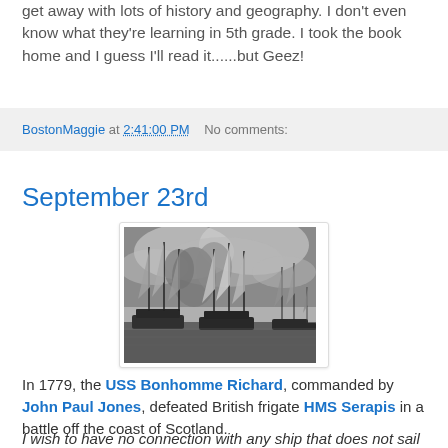get away with lots of history and geography. I don't even know what they're learning in 5th grade. I took the book home and I guess I'll read it......but Geez!
BostonMaggie at 2:41:00 PM   No comments:
September 23rd
[Figure (photo): Black and white historical painting of a naval battle scene with sailing ships in rough seas with smoke and clouds]
In 1779, the USS Bonhomme Richard, commanded by John Paul Jones, defeated British frigate HMS Serapis in a battle off the coast of Scotland.
I wish to have no connection with any ship that does not sail